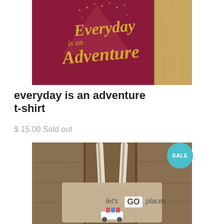[Figure (photo): A dark maroon/wine colored t-shirt with gold script text reading 'Everyday is an Adventure', with a wooden surface visible in the top right corner]
everyday is an adventure t-shirt
$ 15.00 Sold out
[Figure (photo): A tote bag or wall hanging on a wooden background reading 'let's GO places' with an illustrated car, with a SALE badge in the top right corner]